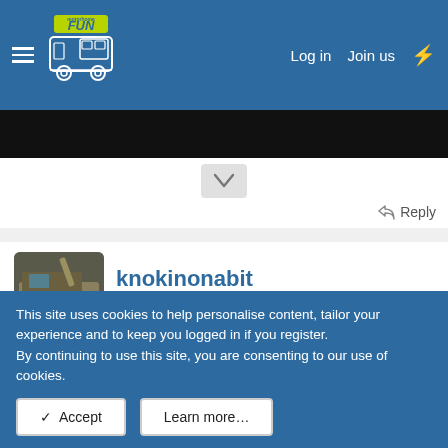motorhome FUN — Log in  Join us
[Figure (screenshot): Black image banner, partially visible]
Reply
knokinonabit
[Figure (photo): Avatar photo of a large yellow vehicle/machine]
Sep 10, 2018  #8
What his motives were and what he hoped to achieve by doing that stupid act we will probably never know.
This site uses cookies to help personalise content, tailor your experience and to keep you logged in if you register.
By continuing to use this site, you are consenting to our use of cookies.
✓ Accept   Learn more…